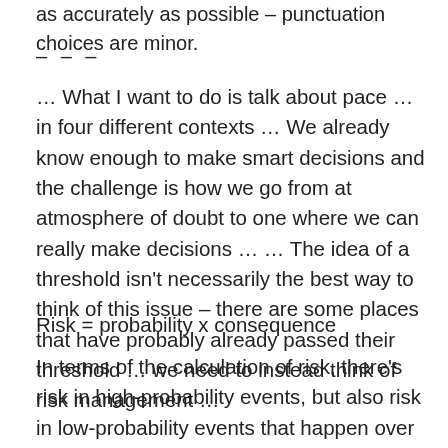as accurately as possible – punctuation choices are minor.
– – –
… What I want to do is talk about pace … in four different contexts … We already know enough to make smart decisions and the challenge is how we go from at atmosphere of doubt to one where we can really make decisions … … The idea of a threshold isn't necessarily the best way to think of this issue – there are some places that have probably already passed their threshold … we need to instead think of risk management …
In terms of the calculation of risk, there's risk in high-probability events, but also risk in low-probability events that happen over a wide spectrum … Steve Schneider